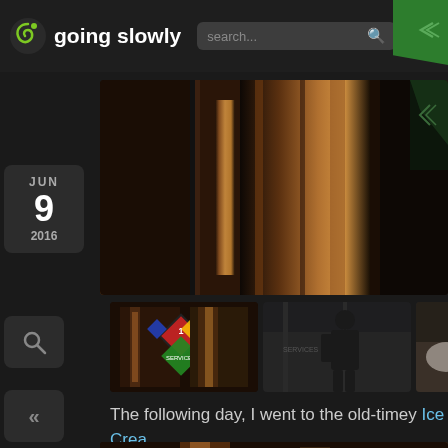going slowly
[Figure (screenshot): Website screenshot: 'going slowly' blog with header bar, date sidebar showing JUN 9 2016, main content area with large photo of brewery tanks, thumbnail strip of three smaller photos, body text about Ice Cream visit, and partial bottom image.]
The following day, I went to the old-timey Ice Crea... good, but the ambiance was better!